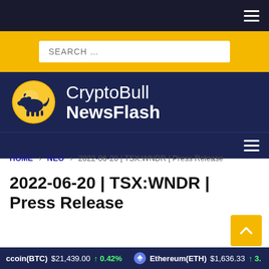CryptoBull NewsFlash — navigation header with hamburger menu, search bar, logo, and secondary nav
HOME > NEO > 2022-06-20 | TSX:WNDR | Press Release
2022-06-20 | TSX:WNDR | Press Release
Bitcoin(BTC) $21,439.00 ↑ 0.42%   Ethereum(ETH) $1,636.33 ↑ 3...